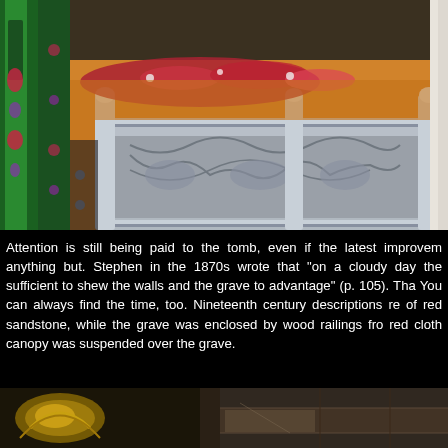[Figure (photo): A decorated silver tomb/shrine with ornate engraved floral patterns on its sides, topped with orange fabric and red flower garlands. Green decorated pillars/walls visible on the left side.]
Attention is still being paid to the tomb, even if the latest improvements are anything but. Stephen in the 1870s wrote that "on a cloudy day the light is sufficient to shew the walls and the grave to advantage" (p. 105). That makes sense. You can always find the time, too. Nineteenth century descriptions report walls of red sandstone, while the grave was enclosed by wood railings from which a red cloth canopy was suspended over the grave.
[Figure (photo): Interior architectural detail showing ornate golden decorative elements and painted ceiling/wall features of what appears to be the shrine interior, dim lighting.]